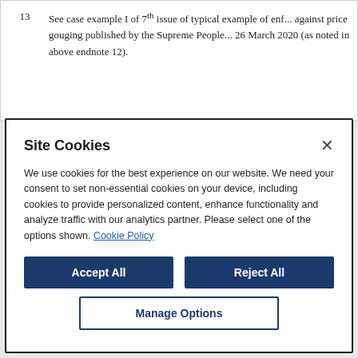13  See case example I of 7th issue of typical example of enforcement against price gouging published by the Supreme People... 26 March 2020 (as noted in above endnote 12).
Site Cookies
We use cookies for the best experience on our website. We need your consent to set non-essential cookies on your device, including cookies to provide personalized content, enhance functionality and analyze traffic with our analytics partner. Please select one of the options shown. Cookie Policy
Accept All
Reject All
Manage Options